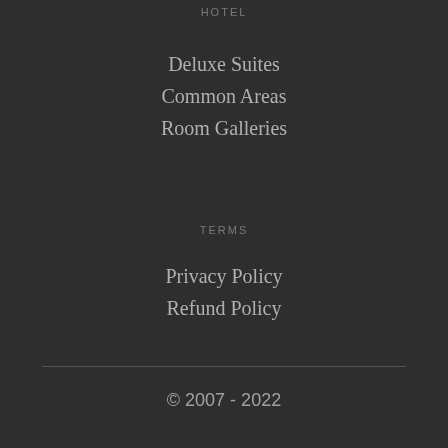HOTEL
Deluxe Suites
Common Areas
Room Galleries
TERMS
Privacy Policy
Refund Policy
© 2007 - 2022